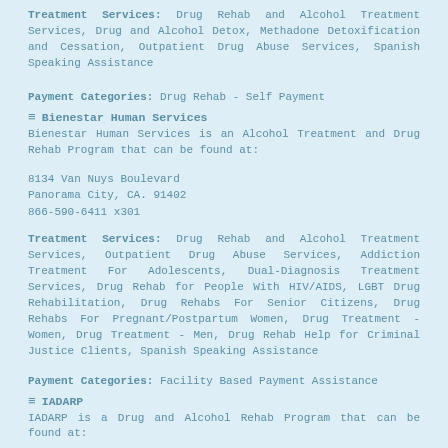Treatment Services: Drug Rehab and Alcohol Treatment Services, Drug and Alcohol Detox, Methadone Detoxification and Cessation, Outpatient Drug Abuse Services, Spanish Speaking Assistance
Payment Categories: Drug Rehab - Self Payment
Bienestar Human Services
Bienestar Human Services is an Alcohol Treatment and Drug Rehab Program that can be found at:
8134 Van Nuys Boulevard
Panorama City, CA. 91402
866-590-6411 x301
Treatment Services: Drug Rehab and Alcohol Treatment Services, Outpatient Drug Abuse Services, Addiction Treatment For Adolescents, Dual-Diagnosis Treatment Services, Drug Rehab for People With HIV/AIDS, LGBT Drug Rehabilitation, Drug Rehabs For Senior Citizens, Drug Rehabs For Pregnant/Postpartum Women, Drug Treatment - Women, Drug Treatment - Men, Drug Rehab Help for Criminal Justice Clients, Spanish Speaking Assistance
Payment Categories: Facility Based Payment Assistance
IADARP
IADARP is a Drug and Alcohol Rehab Program that can be found at:
8330 Lankershim Boulevard
North Hollywood, CA. 91605
818-252-1400